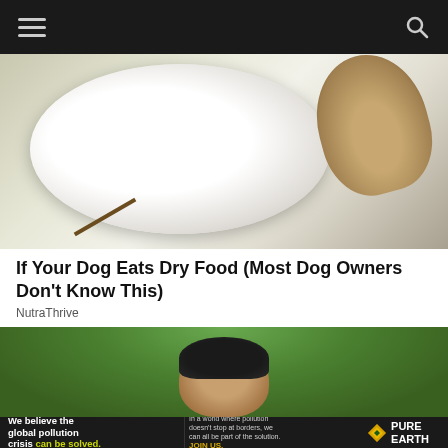Navigation bar with hamburger menu and search icon
[Figure (photo): A dog eating from a white bowl/plate, close-up showing dog's muzzle and a white creamy food substance, with a stick visible, set on a rough surface]
If Your Dog Eats Dry Food (Most Dog Owners Don't Know This)
NutraThrive
[Figure (photo): A man with dark curly hair photographed outdoors against a green blurred background, only the top of his head visible]
[Figure (infographic): Pure Earth advertisement banner: 'We believe the global pollution crisis can be solved.' with text 'In a world where pollution doesn't stop at borders, we can all be part of the solution. JOIN US.' and the Pure Earth logo]